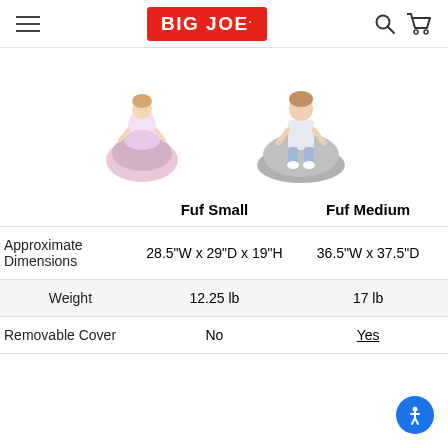BIG JOE
[Figure (photo): Two product photos: left shows a young girl sitting on a small pink Fuf bean bag chair (Fuf Small), right shows an older girl sitting on a medium gray Fuf bean bag chair (Fuf Medium).]
|  | Fuf Small | Fuf Medium |
| --- | --- | --- |
| Approximate Dimensions | 28.5"W x 29"D x 19"H | 36.5"W x 37.5"D |
| Weight | 12.25 lb | 17 lb |
| Removable Cover | No | Yes |